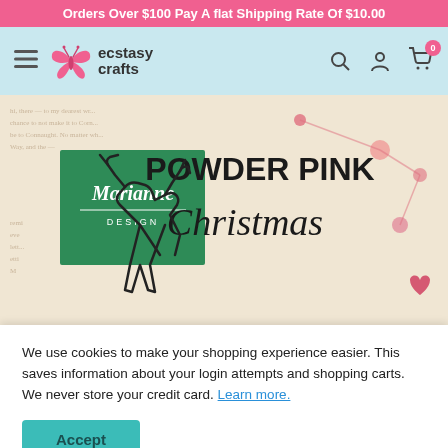Orders Over $100 Pay A flat Shipping Rate Of $10.00
[Figure (logo): Ecstasy Crafts logo with pink butterfly and navigation icons (search, user, cart with badge 0)]
[Figure (photo): Marianne Design Powder Pink Christmas product banner featuring a deer die-cut outline on a vintage letter background with pink decorations]
We use cookies to make your shopping experience easier. This saves information about your login attempts and shopping carts. We never store your credit card. Learn more.
Accept
Ecstasy Crafts Rewards